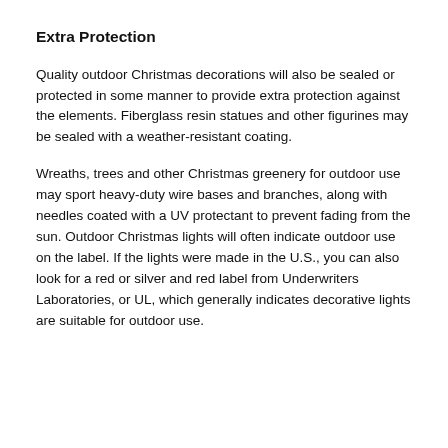Extra Protection
Quality outdoor Christmas decorations will also be sealed or protected in some manner to provide extra protection against the elements. Fiberglass resin statues and other figurines may be sealed with a weather-resistant coating.
Wreaths, trees and other Christmas greenery for outdoor use may sport heavy-duty wire bases and branches, along with needles coated with a UV protectant to prevent fading from the sun. Outdoor Christmas lights will often indicate outdoor use on the label. If the lights were made in the U.S., you can also look for a red or silver and red label from Underwriters Laboratories, or UL, which generally indicates decorative lights are suitable for outdoor use.